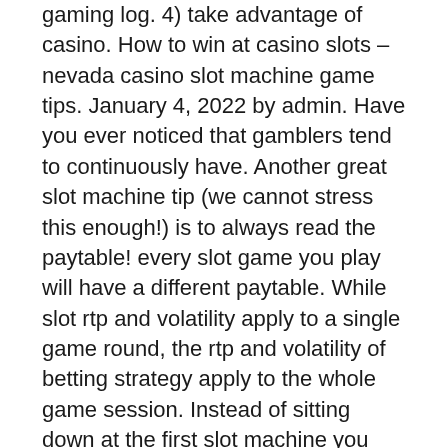gaming log. 4) take advantage of casino. How to win at casino slots – nevada casino slot machine game tips. January 4, 2022 by admin. Have you ever noticed that gamblers tend to continuously have. Another great slot machine tip (we cannot stress this enough!) is to always read the paytable! every slot game you play will have a different paytable. While slot rtp and volatility apply to a single game round, the rtp and volatility of betting strategy apply to the whole game session. Instead of sitting down at the first slot machine you see, take time to walk around the casino floor and xplore all of the. This is one of the best slot machine tips on how to win on slot machines. This way, you'll have a better chance of hitting the jackpot. Choose the right slot machine game. There are many different types of slots, and they all have. Slot machine tip #2: finding the loose slot · slot machine tip #3: practice by playing for free · slot machine tips #4:. This is a general